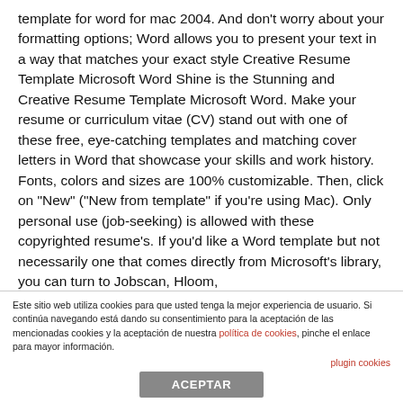template for word for mac 2004. And don't worry about your formatting options; Word allows you to present your text in a way that matches your exact style Creative Resume Template Microsoft Word Shine is the Stunning and Creative Resume Template Microsoft Word. Make your resume or curriculum vitae (CV) stand out with one of these free, eye-catching templates and matching cover letters in Word that showcase your skills and work history. Fonts, colors and sizes are 100% customizable. Then, click on "New" ("New from template" if you're using Mac). Only personal use (job-seeking) is allowed with these copyrighted resume's. If you'd like a Word template but not necessarily one that comes directly from Microsoft's library, you can turn to Jobscan, Hloom,
Este sitio web utiliza cookies para que usted tenga la mejor experiencia de usuario. Si continúa navegando está dando su consentimiento para la aceptación de las mencionadas cookies y la aceptación de nuestra política de cookies, pinche el enlace para mayor información. plugin cookies ACEPTAR